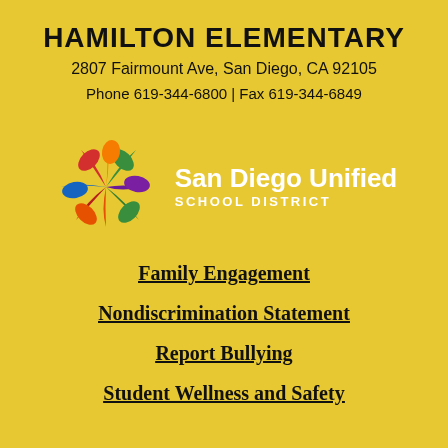HAMILTON ELEMENTARY
2807 Fairmount Ave, San Diego, CA 92105
Phone 619-344-6800 | Fax 619-344-6849
[Figure (logo): San Diego Unified School District logo with colorful pinwheel/star shape and white text]
Family Engagement
Nondiscrimination Statement
Report Bullying
Student Wellness and Safety